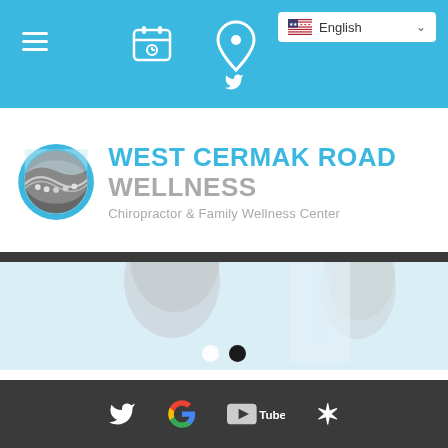[Figure (screenshot): Mobile website navigation bar with hamburger menu, calendar icon, location pin icon on a sky-blue background, and an English language selector dropdown on the right]
[Figure (logo): West Cermak Road Wellness logo with circular spine/road graphic icon in blue and gray, with bold blue text WEST CERMAK ROAD and gray text WELLNESS, subtitle Chiropractor & Family Wellness Center]
[Figure (photo): Hero slider image showing two blurred people (an older man with gray hair on left, a woman on right) in a clinical setting, with carousel dot indicators below]
[Figure (screenshot): Dark footer bar with social media icons: Twitter bird, Google G, YouTube logo, Yelp logo in white on dark gray background]